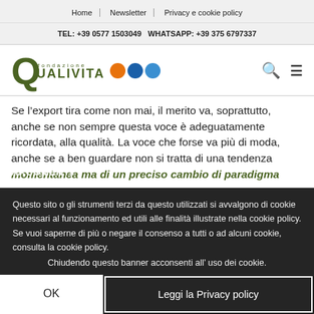Home | Newsletter | Privacy e cookie policy
TEL: +39 0577 1503049  WHATSAPP: +39 375 6797337
[Figure (logo): Fondazione Qualivita logo with Q letter mark and certification icons]
Se l’export tira come non mai, il merito va, soprattutto, anche se non sempre questa voce è adeguatamente ricordata, alla qualità. La voce che forse va più di moda, anche se a ben guardare non si tratta di una tendenza momentanea ma di un preciso cambio di paradigma
Questo sito o gli strumenti terzi da questo utilizzati si avvalgono di cookie necessari al funzionamento ed utili alle finalità illustrate nella cookie policy. Se vuoi saperne di più o negare il consenso a tutti o ad alcuni cookie, consulta la cookie policy. Chiudendo questo banner acconsenti all’ uso dei cookie.
ARGOMENTI
OK
Leggi la Privacy policy